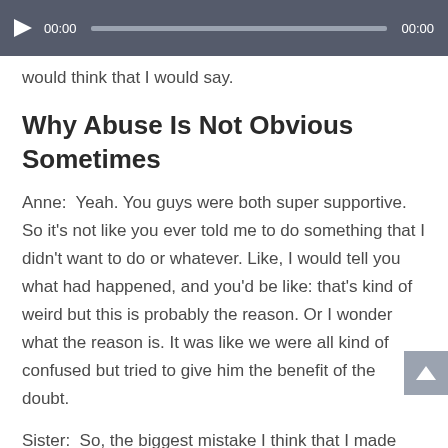[Figure (screenshot): Audio player bar with play button, timestamp 00:00, progress track, and end time 00:00 on dark grey background]
would think that I would say.
Why Abuse Is Not Obvious Sometimes
Anne:  Yeah. You guys were both super supportive. So it's not like you ever told me to do something that I didn't want to do or whatever. Like, I would tell you what had happened, and you'd be like: that's kind of weird but this is probably the reason. Or I wonder what the reason is. It was like we were all kind of confused but tried to give him the benefit of the doubt.
Sister:  So, the biggest mistake I think that I made